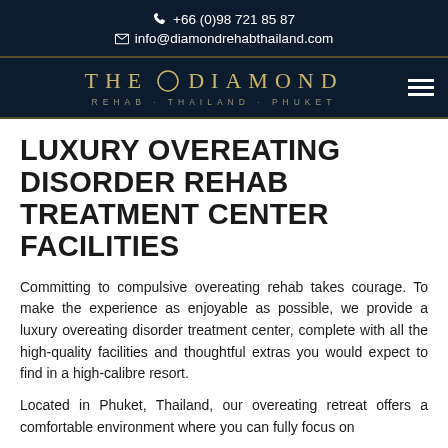+66 (0)98 721 85 87
info@diamondrehabthailand.com
[Figure (logo): The Diamond Rehab Thailand Phuket logo with golden diamond shape and text on dark navy background]
LUXURY OVEREATING DISORDER REHAB TREATMENT CENTER FACILITIES
Committing to compulsive overeating rehab takes courage. To make the experience as enjoyable as possible, we provide a luxury overeating disorder treatment center, complete with all the high-quality facilities and thoughtful extras you would expect to find in a high-calibre resort.
Located in Phuket, Thailand, our overeating retreat offers a comfortable environment where you can fully focus on